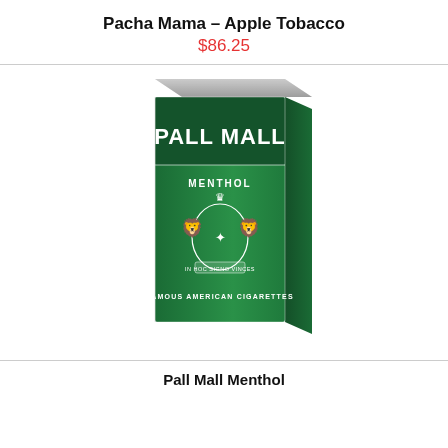Pacha Mama – Apple Tobacco
$86.25
[Figure (photo): A Pall Mall Menthol cigarette pack in green color with white branding text reading 'PALL MALL', 'MENTHOL', a heraldic crest with lions and a compass star, and text 'FAMOUS AMERICAN CIGARETTES'. The pack has a cellophane wrapper with foil visible at the top.]
Pall Mall Menthol